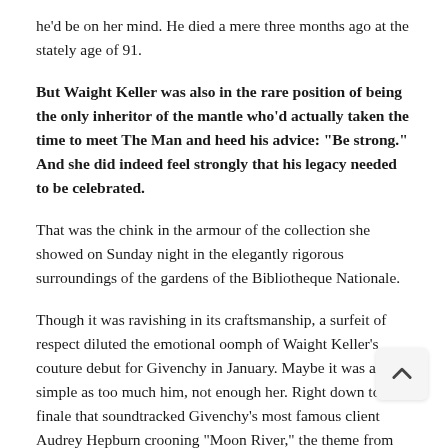he'd be on her mind. He died a mere three months ago at the stately age of 91.
But Waight Keller was also in the rare position of being the only inheritor of the mantle who'd actually taken the time to meet The Man and heed his advice: “Be strong.” And she did indeed feel strongly that his legacy needed to be celebrated.
That was the chink in the armour of the collection she showed on Sunday night in the elegantly rigorous surroundings of the gardens of the Bibliotheque Nationale.
Though it was ravishing in its craftsmanship, a surfeit of respect diluted the emotional oomph of Waight Keller’s couture debut for Givenchy in January. Maybe it was as simple as too much him, not enough her. Right down to a finale that soundtracked Givenchy’s most famous client Audrey Hepburn crooning “Moon River,” the theme from most famous film.